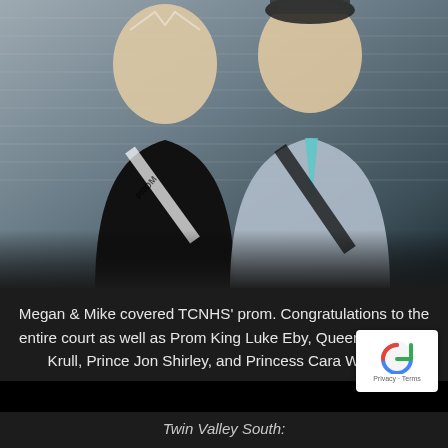[Figure (photo): Two teenagers in prom attire posing together. The young woman on the left wears a black dress with a tiara and a prom court sash. The young man on the right wears a light gray suit with a teal tie, crown hat, boutonniere, and a prom court sash. Background shows blinds/curtains and event lighting.]
Megan & Mike covered TCNHS' prom. Congratulations to the entire court as well as Prom King Luke Eby, Queen Shawnee Krull, Prince Jon Shirley, and Princess Cara Waddle!
[Figure (logo): reCAPTCHA logo with Privacy and Terms text]
Twin Valley South: